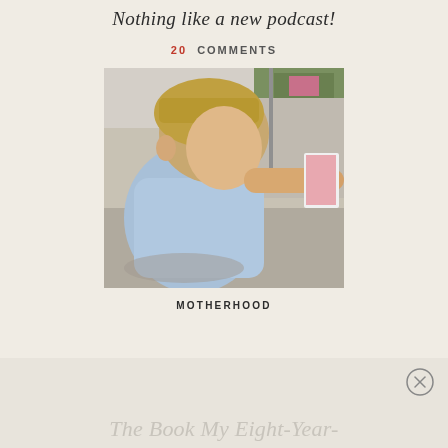Nothing like a new podcast!
20 COMMENTS
[Figure (photo): A young boy with blonde hair wearing a light blue t-shirt, photographed from behind/side, reaching out with his arm toward something off-camera, outdoors on a sunny day with greenery and steps in the background.]
MOTHERHOOD
The Book My Eight-Year-